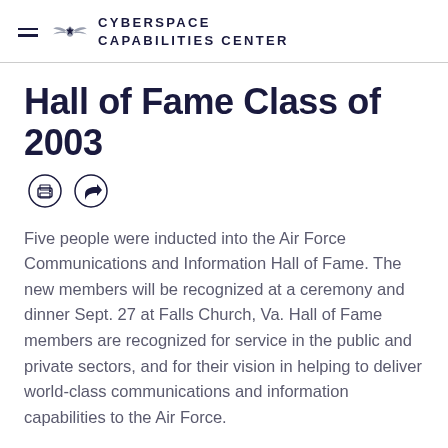CYBERSPACE CAPABILITIES CENTER
Hall of Fame Class of 2003
Five people were inducted into the Air Force Communications and Information Hall of Fame. The new members will be recognized at a ceremony and dinner Sept. 27 at Falls Church, Va. Hall of Fame members are recognized for service in the public and private sectors, and for their vision in helping to deliver world-class communications and information capabilities to the Air Force.